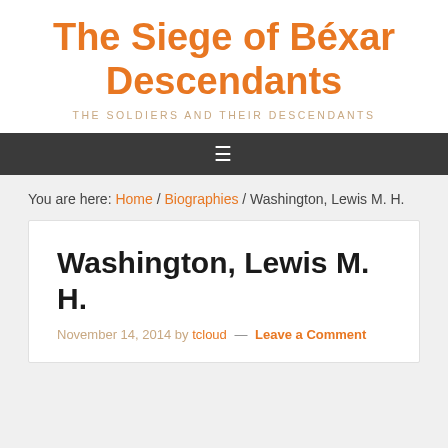The Siege of Béxar Descendants
THE SOLDIERS AND THEIR DESCENDANTS
≡
You are here: Home / Biographies / Washington, Lewis M. H.
Washington, Lewis M. H.
November 14, 2014 by tcloud — Leave a Comment